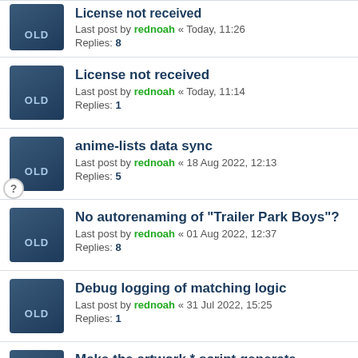License not received
Last post by rednoah « Today, 11:26
Replies: 8
License not received
Last post by rednoah « Today, 11:14
Replies: 1
anime-lists data sync
Last post by rednoah « 18 Aug 2022, 12:13
Replies: 5
No autorenaming of "Trailer Park Boys"?
Last post by rednoah « 01 Aug 2022, 12:37
Replies: 8
Debug logging of matching logic
Last post by rednoah « 31 Jul 2022, 15:25
Replies: 1
Make the artwork.* script generate cover.jpg files as welll
Last post by kim « 29 Jul 2022, 11:04
Replies: 2